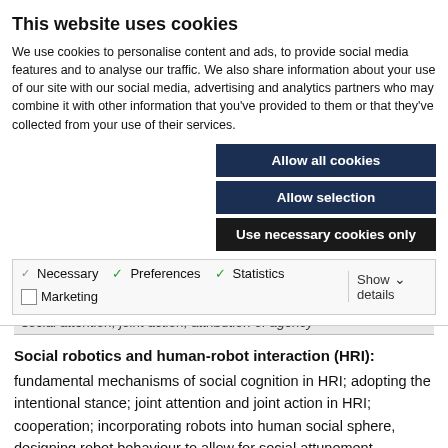This website uses cookies
We use cookies to personalise content and ads, to provide social media features and to analyse our traffic. We also share information about your use of our site with our social media, advertising and analytics partners who may combine it with other information that you've provided to them or that they've collected from your use of their services.
Allow all cookies
Allow selection
Use necessary cookies only
Necessary  Preferences  Statistics  Marketing  Show details
social attention; joint action; attribution of agency
Social robotics and human-robot interaction (HRI):
fundamental mechanisms of social cognition in HRI; adopting the intentional stance; joint attention and joint action in HRI; cooperation; incorporating robots into human social sphere, designing robot behaviour to allow for social attunement.